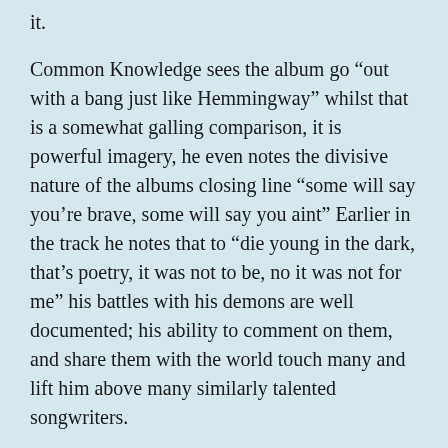it.
Common Knowledge sees the album go “out with a bang just like Hemmingway” whilst that is a somewhat galling comparison, it is powerful imagery, he even notes the divisive nature of the albums closing line “some will say you’re brave, some will say you aint” Earlier in the track he notes that to “die young in the dark, that’s poetry, it was not to be, no it was not for me” his battles with his demons are well documented; his ability to comment on them, and share them with the world touch many and lift him above many similarly talented songwriters.
This album is far from perfect, but it is no disaster either. There are highs and lows, and perhaps like life itself it can not all be perfection. He is still a unique figure in music, crafting out his own path, a stunning voice for the broken hearted, who has still got plenty of life in him and plenty of great times ahead. Perhaps